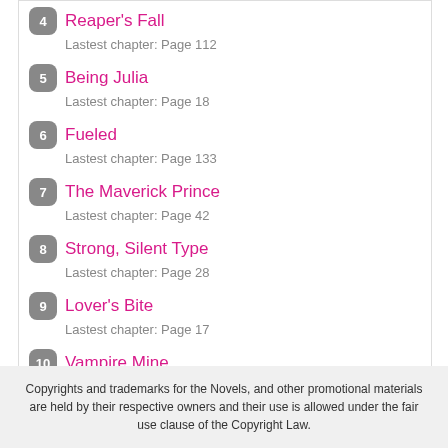4 Reaper's Fall — Lastest chapter: Page 112
5 Being Julia — Lastest chapter: Page 18
6 Fueled — Lastest chapter: Page 133
7 The Maverick Prince — Lastest chapter: Page 42
8 Strong, Silent Type — Lastest chapter: Page 28
9 Lover's Bite — Lastest chapter: Page 17
10 Vampire Mine — Lastest chapter: Page 52
Copyrights and trademarks for the Novels, and other promotional materials are held by their respective owners and their use is allowed under the fair use clause of the Copyright Law.